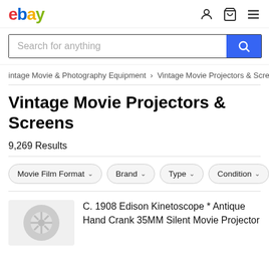[Figure (logo): eBay logo in red, blue, yellow, green]
[Figure (screenshot): Search bar with 'Search for anything' placeholder and blue search button]
intage Movie & Photography Equipment > Vintage Movie Projectors & Scre
Vintage Movie Projectors & Screens
9,269 Results
Movie Film Format  Brand  Type  Condition
C. 1908 Edison Kinetoscope * Antique Hand Crank 35MM Silent Movie Projector